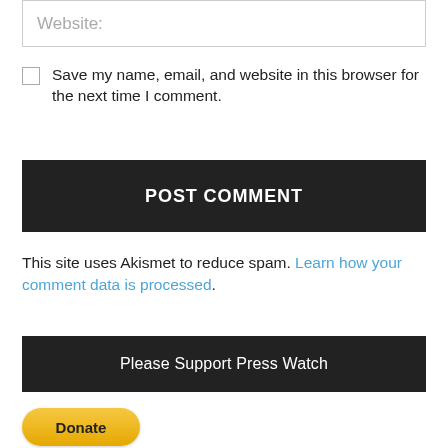Website:
Save my name, email, and website in this browser for the next time I comment.
POST COMMENT
This site uses Akismet to reduce spam. Learn how your comment data is processed.
Please Support Press Watch
[Figure (other): PayPal Donate button — yellow rounded rectangle with bold text 'Donate']